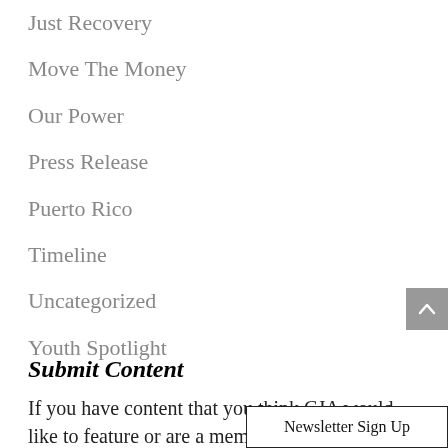Just Recovery
Move The Money
Our Power
Press Release
Puerto Rico
Timeline
Uncategorized
Youth Spotlight
Submit Content
If you have content that you think CJA would like to feature or are a member of the alliance with
Newsletter Sign Up